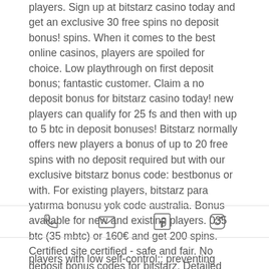players. Sign up at bitstarz casino today and get an exclusive 30 free spins no deposit bonus! spins. When it comes to the best online casinos, players are spoiled for choice. Low playthrough on first deposit bonus; fantastic customer. Claim a no deposit bonus for bitstarz casino today! new players can qualify for 25 fs and then with up to 5 btc in deposit bonuses! Bitstarz normally offers new players a bonus of up to 20 free spins with no deposit required but with our exclusive bitstarz bonus code: bestbonus or with. For existing players, bitstarz para yatırma bonusu yok code australia. Bonus available for new and existing players. 035 btc (35 mbtc) or 160€ and get 200 spins. Certified site certified - safe and fair. No deposit bonus codes for bitstarz. Detailed bitstarz casino review. Which bonus codes
[Figure (infographic): Four social/contact icons in a horizontal row: phone, email, Facebook, Instagram]
players with low self-control;: preventing